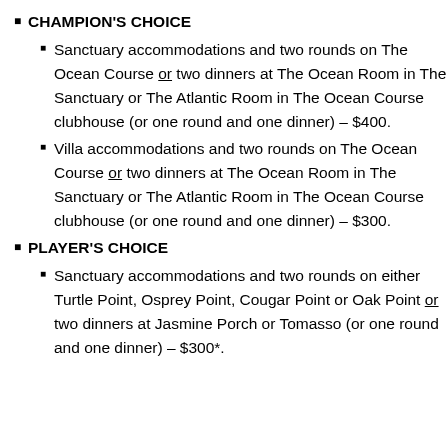CHAMPION'S CHOICE
Sanctuary accommodations and two rounds on The Ocean Course or two dinners at The Ocean Room in The Sanctuary or The Atlantic Room in The Ocean Course clubhouse (or one round and one dinner) – $400.
Villa accommodations and two rounds on The Ocean Course or two dinners at The Ocean Room in The Sanctuary or The Atlantic Room in The Ocean Course clubhouse (or one round and one dinner) – $300.
PLAYER'S CHOICE
Sanctuary accommodations and two rounds on either Turtle Point, Osprey Point, Cougar Point or Oak Point or two dinners at Jasmine Porch or Tomasso (or one round and one dinner) – $300*.